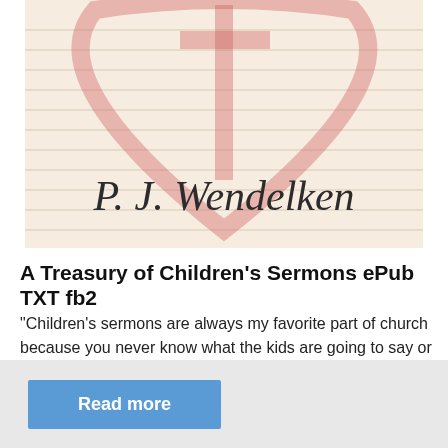[Figure (illustration): Book cover image showing lined notebook paper background with a faint red cross and heart/shield shape watermark. Author name 'P. J. Wendelken' written in cursive script across the cover.]
A Treasury of Children's Sermons ePub TXT fb2
“Children’s sermons are always my favorite part of church because you never know what the kids are going to say or do. I also know that these sermons are the toughest to come up with. I asked a retire
Read more